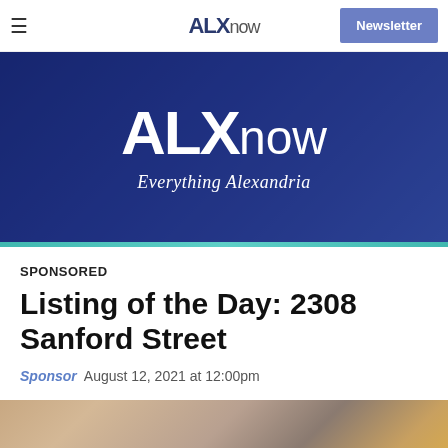ALXnow — Newsletter
[Figure (illustration): ALXnow hero banner with large white ALXnow logo and tagline 'Everything Alexandria' on a dark blue background with city skyline silhouette]
SPONSORED
Listing of the Day: 2308 Sanford Street
Sponsor  August 12, 2021 at 12:00pm
[Figure (photo): Partial photo of a home interior or exterior with warm brown and tan tones]